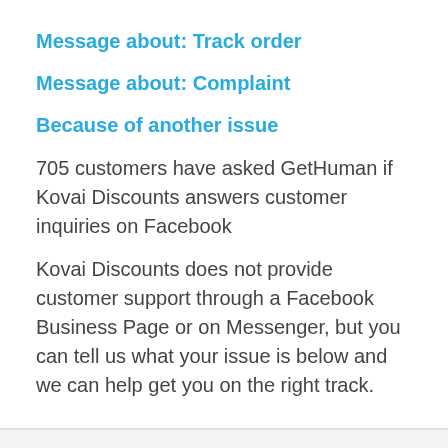Message about: Track order
Message about: Complaint
Because of another issue
705 customers have asked GetHuman if Kovai Discounts answers customer inquiries on Facebook
Kovai Discounts does not provide customer support through a Facebook Business Page or on Messenger, but you can tell us what your issue is below and we can help get you on the right track.
Kovai Discounts Customer Service via Facebook: The Breakdown
Kovai Discounts does not have a Facebook Business